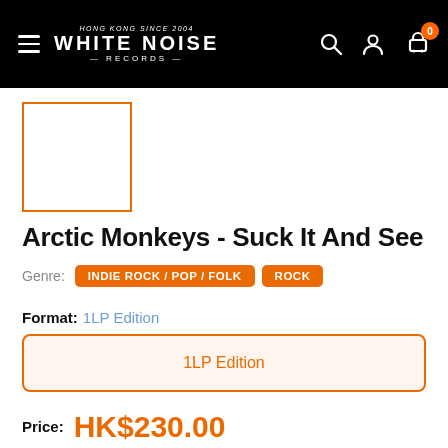WHITE NOISE RECORDS — HONG KONG SINCE 2004
[Figure (other): Album artwork placeholder — white square with orange border]
Arctic Monkeys - Suck It And See
Genre: INDIE ROCK / POP / FOLK  ROCK
Format: 1LP Edition
1LP Edition
Price: HK$230.00